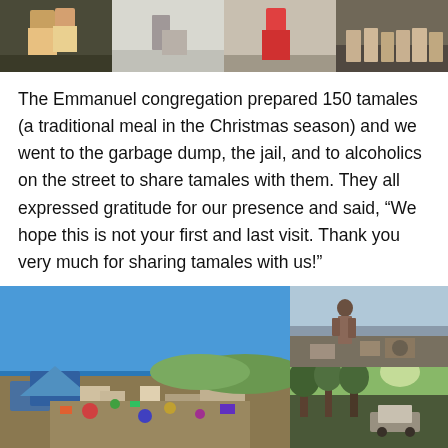[Figure (photo): Row of four photographs showing people at community outreach events]
The Emmanuel congregation prepared 150 tamales (a traditional meal in the Christmas season) and we went to the garbage dump, the jail, and to alcoholics on the street to share tamales with them. They all expressed gratitude for our presence and said, “We hope this is not your first and last visit. Thank you very much for sharing tamales with us!”
[Figure (photo): Three photographs showing a garbage dump scene: large left photo of dump site with blue tarps and debris under blue sky, top right photo of a woman at the garbage dump, bottom right photo of a street scene with vehicles and trees]